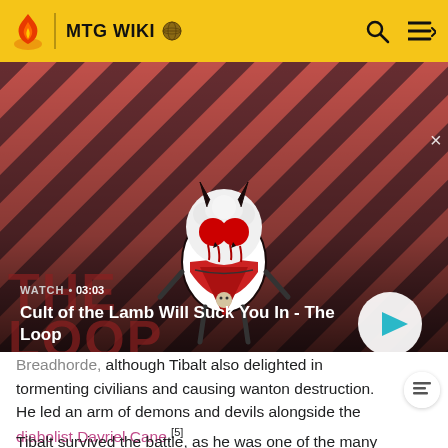MTG WIKI
[Figure (screenshot): Video thumbnail for 'Cult of the Lamb Will Suck You In - The Loop' with a cartoon lamb character on a red and dark striped background. Shows WATCH • 03:03 text and a play button.]
Breadhorde, although Tibalt also delighted in tormenting civilians and causing wanton destruction. He led an army of demons and devils alongside the diabolist Davriel Cane.[5]
Tibalt survived the battle, as he was one of the many